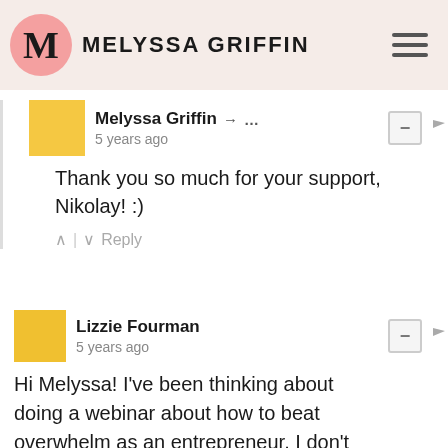MELYSSA GRIFFIN
Melyssa Griffin → … 5 years ago
Thank you so much for your support, Nikolay! :)
Lizzie Fourman 5 years ago
Hi Melyssa! I've been thinking about doing a webinar about how to beat overwhelm as an entrepreneur. I don't know the timeline for getting something like that done, but I'll find out soon